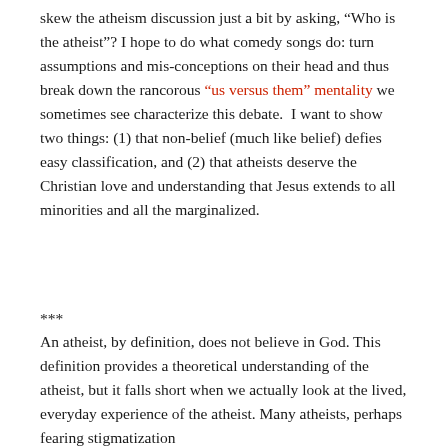skew the atheism discussion just a bit by asking, “Who is the atheist”? I hope to do what comedy songs do: turn assumptions and mis-conceptions on their head and thus break down the rancorous “us versus them” mentality we sometimes see characterize this debate.  I want to show two things: (1) that non-belief (much like belief) defies easy classification, and (2) that atheists deserve the Christian love and understanding that Jesus extends to all minorities and all the marginalized.
***
An atheist, by definition, does not believe in God. This definition provides a theoretical understanding of the atheist, but it falls short when we actually look at the lived, everyday experience of the atheist. Many atheists, perhaps fearing stigmatization